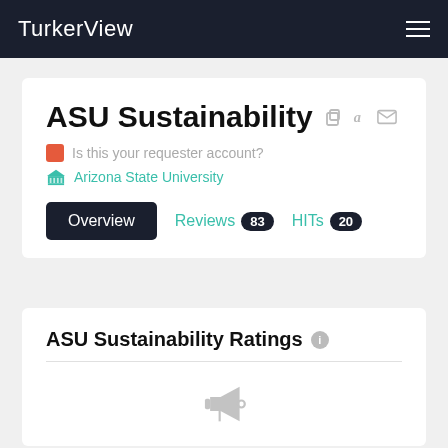TurkerView
ASU Sustainability
Is this your requester account?
Arizona State University
Overview  Reviews 83  HITs 20
ASU Sustainability Ratings
[Figure (illustration): Megaphone icon, grayed out]